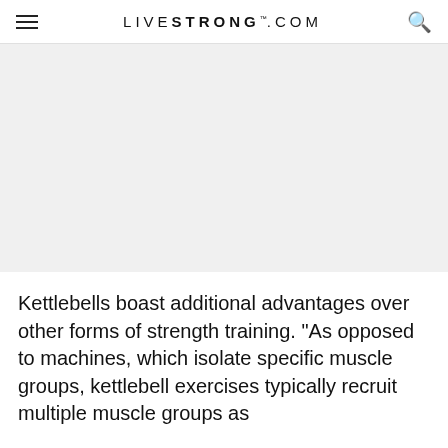LIVESTRONG.COM
[Figure (photo): Image placeholder area (gray background, likely a photo of kettlebells or exercise)]
Kettlebells boast additional advantages over other forms of strength training. "As opposed to machines, which isolate specific muscle groups, kettlebell exercises typically recruit multiple muscle groups as